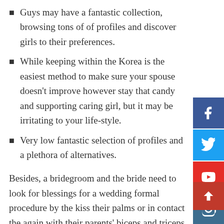Guys may have a fantastic collection, browsing tons of of profiles and discover girls to their preferences.
While keeping within the Korea is the easiest method to make sure your spouse doesn't improve however stay that candy and supporting caring girl, but it may be irritating to your life-style.
Very low fantastic selection of profiles and a plethora of alternatives.
Besides, a bridegroom and the bride need to look for blessings for a wedding formal procedure by the kiss their palms or in contact the again with their parents' biceps and triceps with their foreheads. It's a